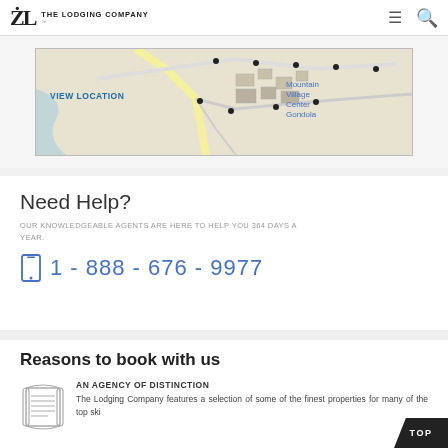The Lodging Company
[Figure (map): A map showing Mountain Village Center Gondola location with a VIEW LOCATION link]
Need Help?
OUR KNOWLEDGEABLE AGENTS ARE HERE TO HELP YOU 364 DAYS A YEAR.
1 - 888 - 676 - 9977
Reasons to book with us
AN AGENCY OF DISTINCTION
The Lodging Company features a selection of some of the finest properties for many of the top ski destinations. You can continue to visit the...